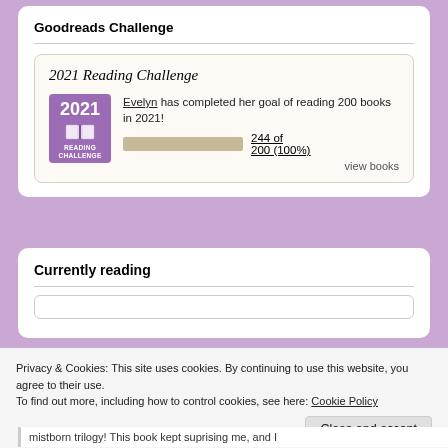Goodreads Challenge
[Figure (infographic): 2021 Reading Challenge badge with purple background showing '2021 READING CHALLENGE' text and book icon. Text reads: Evelyn has completed her goal of reading 200 books in 2021! Progress bar shown full. 244 of 200 (100%). view books link.]
Currently reading
Privacy & Cookies: This site uses cookies. By continuing to use this website, you agree to their use. To find out more, including how to control cookies, see here: Cookie Policy
mistborn trilogy! This book kept suprising me, and I